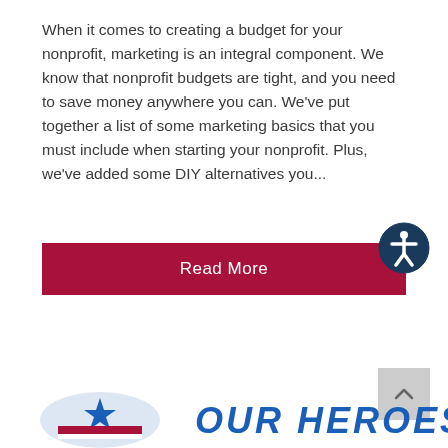When it comes to creating a budget for your nonprofit, marketing is an integral component. We know that nonprofit budgets are tight, and you need to save money anywhere you can. We've put together a list of some marketing basics that you must include when starting your nonprofit. Plus, we've added some DIY alternatives you...
Read More
Print Design
[Figure (logo): OUR HEROES logo with patriotic icon at bottom of page]